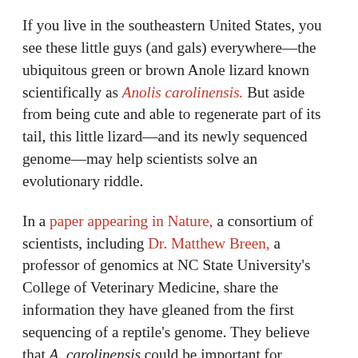If you live in the southeastern United States, you see these little guys (and gals) everywhere—the ubiquitous green or brown Anole lizard known scientifically as Anolis carolinensis. But aside from being cute and able to regenerate part of its tail, this little lizard—and its newly sequenced genome—may help scientists solve an evolutionary riddle.
In a paper appearing in Nature, a consortium of scientists, including Dr. Matthew Breen, a professor of genomics at NC State University's College of Veterinary Medicine, share the information they have gleaned from the first sequencing of a reptile's genome. They believe that A. carolinensis could be important for understanding the evolution of the amniotic egg, and that its genome could help them discover how it has so easily adapted to a number of various habitats, as well as lead them to the